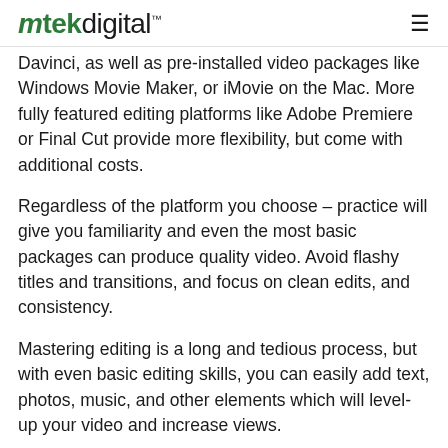mtek digital™
Davinci, as well as pre-installed video packages like Windows Movie Maker, or iMovie on the Mac. More fully featured editing platforms like Adobe Premiere or Final Cut provide more flexibility, but come with additional costs.
Regardless of the platform you choose – practice will give you familiarity and even the most basic packages can produce quality video. Avoid flashy titles and transitions, and focus on clean edits, and consistency.
Mastering editing is a long and tedious process, but with even basic editing skills, you can easily add text, photos, music, and other elements which will level-up your video and increase views.